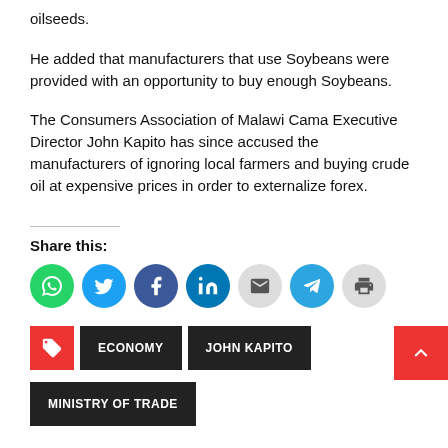oilseeds.
He added that manufacturers that use Soybeans were provided with an opportunity to buy enough Soybeans.
The Consumers Association of Malawi Cama Executive Director John Kapito has since accused the manufacturers of ignoring local farmers and buying crude oil at expensive prices in order to externalize forex.
Share this:
[Figure (infographic): Row of 7 social share icon circles: WhatsApp (green), Twitter (blue), Facebook (dark blue), LinkedIn (blue), Email (gray), Telegram (blue), Print (gray)]
ECONOMY   JOHN KAPITO   MINISTRY OF TRADE